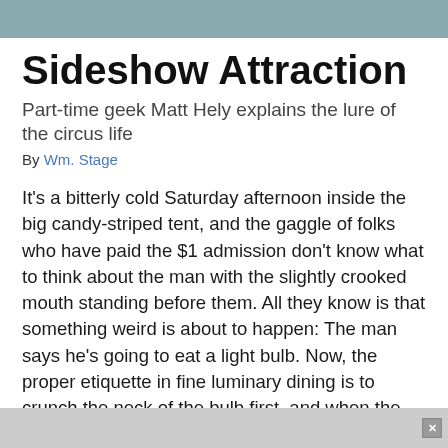Sideshow Attraction
Part-time geek Matt Hely explains the lure of the circus life
By Wm. Stage
It's a bitterly cold Saturday afternoon inside the big candy-striped tent, and the gaggle of folks who have paid the $1 admission don't know what to think about the man with the slightly crooked mouth standing before them. All they know is that something weird is about to happen: The man says he's going to eat a light bulb. Now, the proper etiquette in fine luminary dining is to crunch the neck of the bulb first, and when the man puts the bulb in his mouth and bites down, making an audible pop, you can feel the audience's